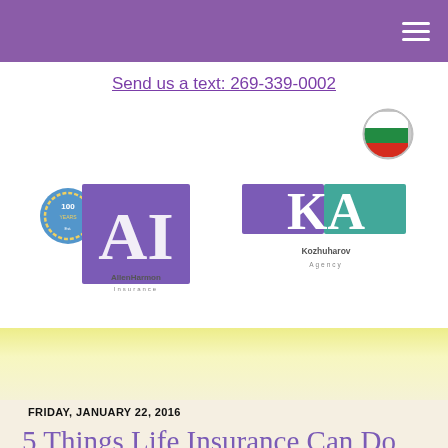Send us a text: 269-339-0002
[Figure (logo): Bulgarian flag circle icon]
[Figure (logo): Allen Harmon Insurance and Kozhuharov Agency logos with 100 Years badge]
[Figure (illustration): Yellow/cream gradient decorative banner]
FRIDAY, JANUARY 22, 2016
5 Things Life Insurance Can Do For You
[Figure (illustration): Accessibility icon - person in circle]
The investment in life